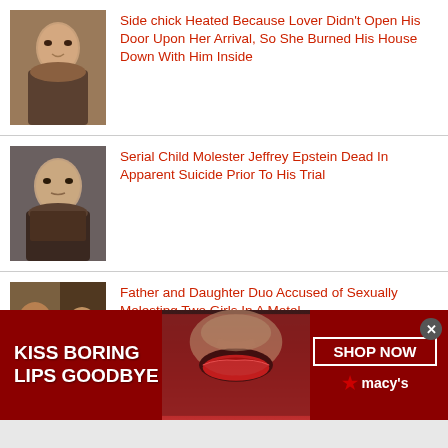[Figure (photo): Mugshot of a woman]
Side chick Heated Because Lover Didn't Open His Door Upon Her Arrival, So She Burned His House Down With Him Inside
[Figure (photo): Photo of Jeffrey Epstein]
Serial Child Molester Jeffrey Epstein Dead In Apparent Suicide Prior To His Trial
[Figure (photo): Mugshot of a man and a woman side by side]
Father and Daughter Duo Accused of Sexually Molesting Two Girls In A Motel
[Figure (photo): Partial thumbnail of article below ad]
[VIDEO] Georgia Woman Deliberately
[Figure (photo): Macy's advertisement banner: KISS BORING LIPS GOODBYE with model and SHOP NOW button]